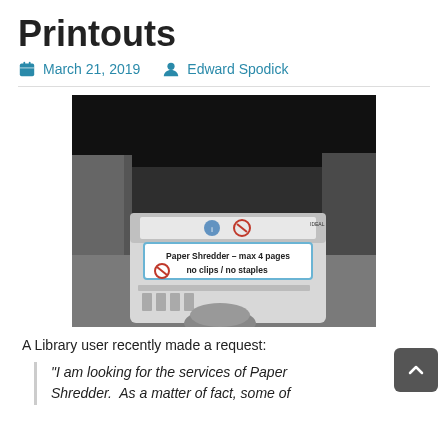Printouts
March 21, 2019   Edward Spodick
[Figure (photo): Photo of a paper shredder machine with a label reading 'Paper Shredder – max 4 pages no clips / no staples', placed on a carpet next to office furniture]
A Library user recently made a request:
"I am looking for the services of Paper Shredder. As a matter of fact, some of